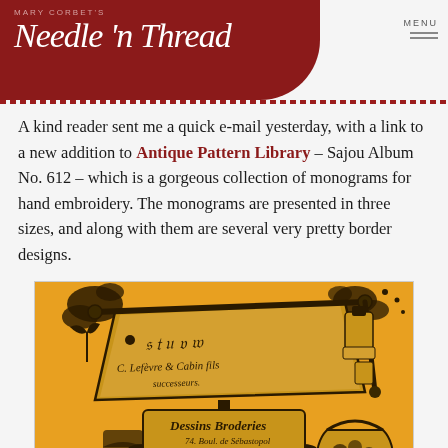Mary Corbet's Needle 'n Thread — MENU
A kind reader sent me a quick e-mail yesterday, with a link to a new addition to Antique Pattern Library – Sajou Album No. 612 – which is a gorgeous collection of monograms for hand embroidery. The monograms are presented in three sizes, and along with them are several very pretty border designs.
[Figure (illustration): Vintage French illustration/advertisement for Sajou Album No. 612 — Dessins de Broderies, 74 Boul. de Sébastopol, Paris. Shows an embroidery display board on an ornate stand with decorative script lettering, on an orange/gold background.]
This is a beautifully clean copy of this particular Sajou album, so